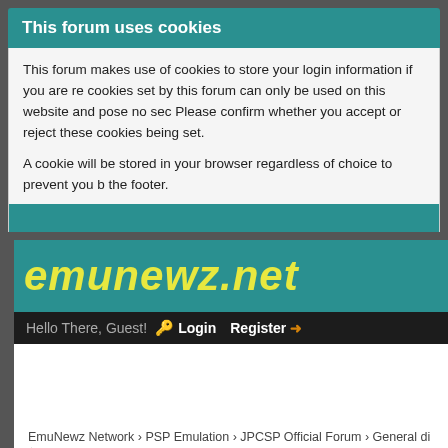This forum uses cookies
This forum makes use of cookies to store your login information if you are registered, and your last visit if you are not. Cookies set by this forum can only be used on this website and pose no security risk. Cookies on this forum also track the specific topics you have read and when you last read them. Please confirm whether you accept or reject these cookies being set.
A cookie will be stored in your browser regardless of choice to prevent you being asked this question again. You will be able to change your cookie settings at any time using the link in the footer.
[Figure (screenshot): EmuNewz.net forum website header with teal background and stylized yellow logo text]
Hello There, Guest!  🔑 Login   Register →
EmuNewz Network › PSP Emulation › JPCSP Official Forum › General di
is the PSP leaked keys going to Help emulation?